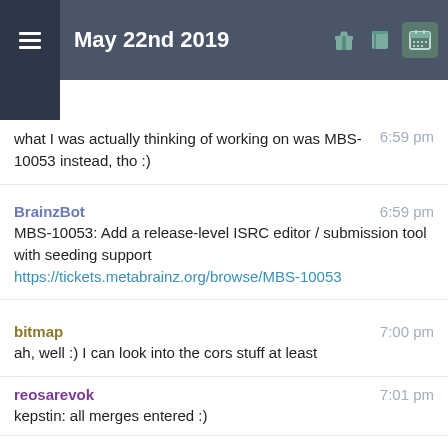May 22nd 2019
what I was actually thinking of working on was MBS-10053 instead, tho :)  6:59 pm
BrainzBot  6:59 pm
MBS-10053: Add a release-level ISRC editor / submission tool with seeding support https://tickets.metabrainz.org/browse/MBS-10053
bitmap  7:00 pm
ah, well :) I can look into the cors stuff at least
reosarevok  7:01 pm
kepstin: all merges entered :)
kepstin  7:01 pm
thanks, I'll vote and finish up the other cleanups